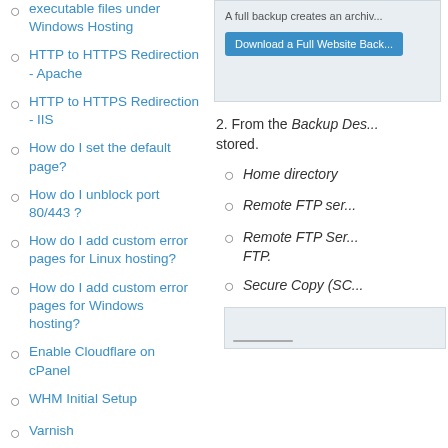executable files under Windows Hosting
HTTP to HTTPS Redirection - Apache
HTTP to HTTPS Redirection - IIS
How do I set the default page?
How do I unblock port 80/443 ?
How do I add custom error pages for Linux hosting?
How do I add custom error pages for Windows hosting?
Enable Cloudflare on cPanel
WHM Initial Setup
Varnish
How do I change the Primary domain of my hosting plan?
[Figure (screenshot): Screenshot showing 'A full backup creates an archive' text and a 'Download a Full Website Back...' blue button]
2. From the Backup Des... stored.
Home directory
Remote FTP ser...
Remote FTP Ser... FTP.
Secure Copy (SC...
[Figure (screenshot): Partial screenshot at bottom of right column]